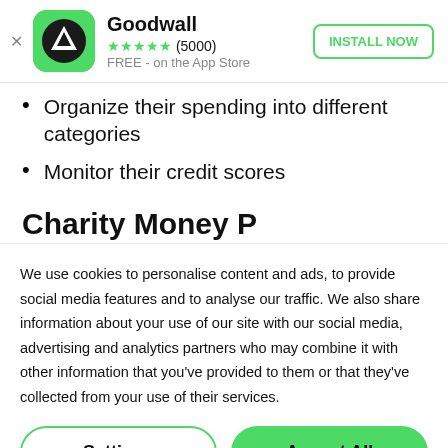[Figure (screenshot): Goodwall app install banner with green rounded-square icon showing a triangle/mountain logo, 5-star rating (5000 reviews), FREE on the App Store, and an INSTALL NOW button]
Organize their spending into different categories
Monitor their credit scores
Charity Money P…
We use cookies to personalise content and ads, to provide social media features and to analyse our traffic. We also share information about your use of our site with our social media, advertising and analytics partners who may combine it with other information that you've provided to them or that they've collected from your use of their services.
Settings
Accept All